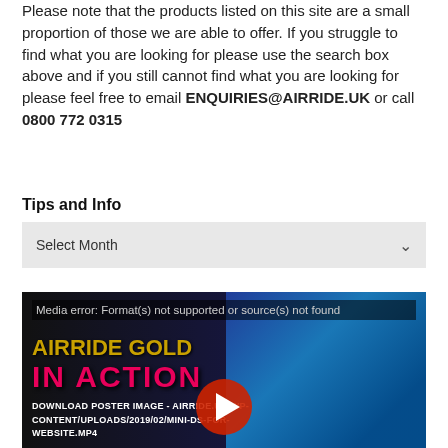Please note that the products listed on this site are a small proportion of those we are able to offer. If you struggle to find what you are looking for please use the search box above and if you still cannot find what you are looking for please feel free to email ENQUIRIES@AIRRIDE.UK or call 0800 772 0315
Tips and Info
[Figure (screenshot): A dropdown select box showing 'Select Month' with a chevron arrow on the right, light grey background]
[Figure (screenshot): A video player showing a media error: 'Format(s) not supported or source(s) not found'. Overlaid text reads 'AIRRIDE GOLD IN ACTION' with a play button and a URL path to an MP4 file. Background shows a blue Mini Cooper car.]